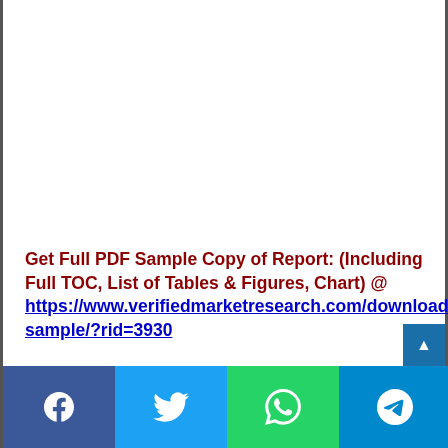Get Full PDF Sample Copy of Report: (Including Full TOC, List of Tables & Figures, Chart) @ https://www.verifiedmarketresearch.com/download-sample/?rid=3930
[Figure (other): Social media sharing bar with Facebook, Twitter, WhatsApp, and Telegram buttons at bottom of page]